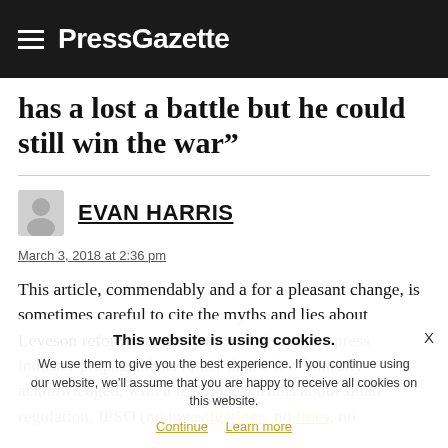PressGazette
has a lost a battle but he could still win the war”
EVAN HARRIS
March 3, 2018 at 2:36 pm
This article, commendably and a for a pleasant change, is sometimes careful to cite the myths and lies about Leveson reform as merely the opinion of the press industry propagandists rather than a few honestly acknowledged, with a few honest truths about small regulation, IPSO (no investigations, no fines, no
This website is using cookies. We use them to give you the best experience. If you continue using our website, we’ll assume that you are happy to receive all cookies on this website. Continue | Learn more